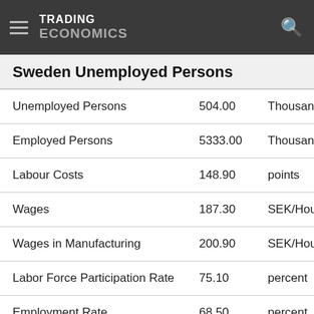TRADING ECONOMICS
Sweden Unemployed Persons
|  | Value | Unit | Date |
| --- | --- | --- | --- |
| Unemployed Persons | 504.00 | Thousand | Jun 20 |
| Employed Persons | 5333.00 | Thousand | Jun 20 |
| Labour Costs | 148.90 | points | May 20 |
| Wages | 187.30 | SEK/Hour | May 20 |
| Wages in Manufacturing | 200.90 | SEK/Hour | May 20 |
| Labor Force Participation Rate | 75.10 | percent | May 20 |
| Employment Rate | 68.50 | percent | Apr 20 |